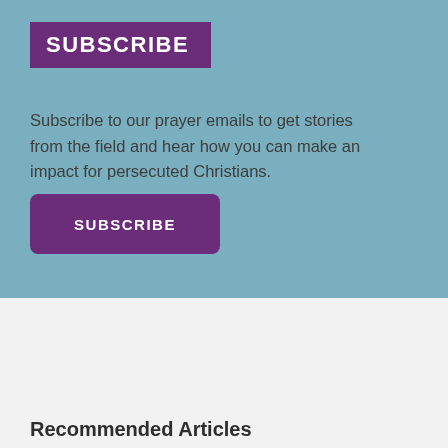SUBSCRIBE
Subscribe to our prayer emails to get stories from the field and hear how you can make an impact for persecuted Christians.
[Figure (other): Purple rounded rectangle button with white uppercase bold text 'SUBSCRIBE']
Recommended Articles